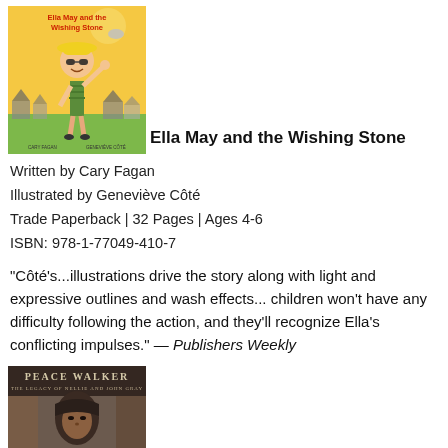[Figure (illustration): Book cover of 'Ella May and the Wishing Stone' showing a cartoon girl with sunglasses and a hat tossing a stone, illustrated by Geneviève Côté, written by Cary Fagan, warm yellow/orange background with houses]
Ella May and the Wishing Stone
Written by Cary Fagan
Illustrated by Geneviève Côté
Trade Paperback | 32 Pages | Ages 4-6
ISBN: 978-1-77049-410-7
“Côté's...illustrations drive the story along with light and expressive outlines and wash effects... children won't have any difficulty following the action, and they'll recognize Ella's conflicting impulses.” — Publishers Weekly
[Figure (illustration): Bottom portion of book cover for 'Peace Walker' showing a person with dark hair against an abstract background, with text 'PEACE WALKER' at top]